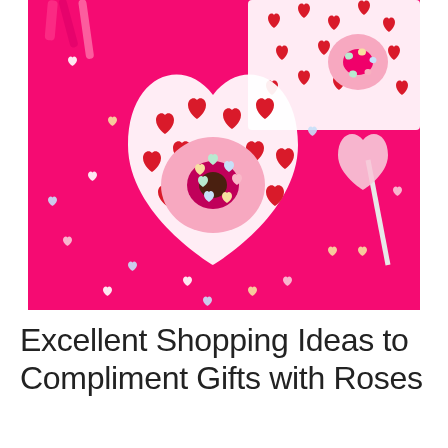[Figure (photo): Valentine's Day themed flat lay photo on a bright pink background featuring heart-shaped candy sprinkles scattered across the surface, a pink frosted donut with candy hearts on top sitting on heart-patterned paper plates, a heart-shaped lollipop, heart-patterned paper napkins with donuts, and pink ribbon decorations.]
Excellent Shopping Ideas to Compliment Gifts with Roses